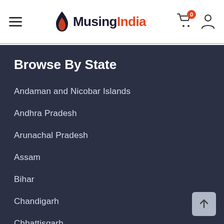[Figure (logo): MusingIndia logo with flame icon, hamburger menu on left, cart with badge '0' and user icon on right]
Browse By State
Andaman and Nicobar Islands
Andhra Pradesh
Arunachal Pradesh
Assam
Bihar
Chandigarh
Chhattisgarh
Dadra Nagar Haveli and Daman Diu
Delhi